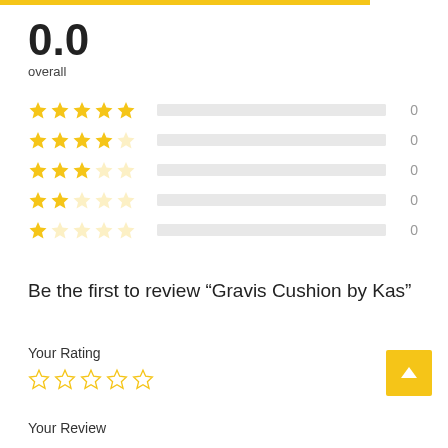[Figure (infographic): Yellow top progress bar]
0.0
overall
[Figure (infographic): 5-star rating row with empty bar, count: 0]
[Figure (infographic): 4-star rating row with empty bar, count: 0]
[Figure (infographic): 3-star rating row with empty bar, count: 0]
[Figure (infographic): 2-star rating row with empty bar, count: 0]
[Figure (infographic): 1-star rating row with empty bar, count: 0]
Be the first to review “Gravis Cushion by Kas”
Your Rating
[Figure (infographic): 5 empty rating stars for user input]
Your Review